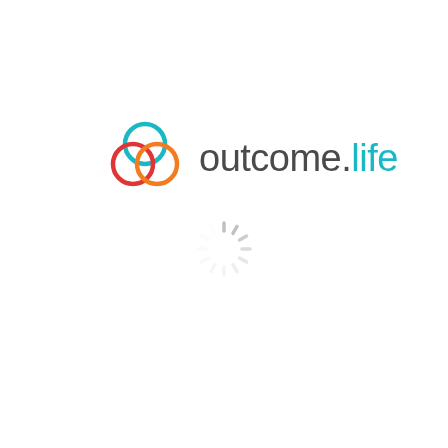[Figure (logo): outcome.life logo with three overlapping circles (teal, red/orange, orange) and the text 'outcome.life' where 'outcome.' is dark gray and 'life' is teal/cyan]
[Figure (other): Loading spinner graphic — circular arrangement of short gray dashes fading from light to dark]